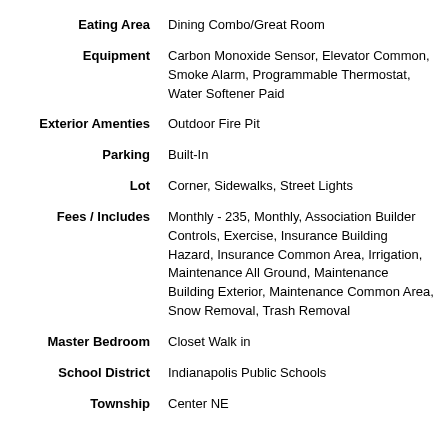| Field | Value |
| --- | --- |
| Eating Area | Dining Combo/Great Room |
| Equipment | Carbon Monoxide Sensor, Elevator Common, Smoke Alarm, Programmable Thermostat, Water Softener Paid |
| Exterior Amenties | Outdoor Fire Pit |
| Parking | Built-In |
| Lot | Corner, Sidewalks, Street Lights |
| Fees / Includes | Monthly - 235, Monthly, Association Builder Controls, Exercise, Insurance Building Hazard, Insurance Common Area, Irrigation, Maintenance All Ground, Maintenance Building Exterior, Maintenance Common Area, Snow Removal, Trash Removal |
| Master Bedroom | Closet Walk in |
| School District | Indianapolis Public Schools |
| Township | Center NE |